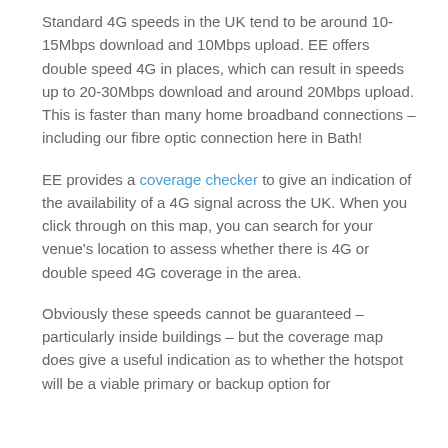Standard 4G speeds in the UK tend to be around 10-15Mbps download and 10Mbps upload. EE offers double speed 4G in places, which can result in speeds up to 20-30Mbps download and around 20Mbps upload. This is faster than many home broadband connections – including our fibre optic connection here in Bath!
EE provides a coverage checker to give an indication of the availability of a 4G signal across the UK. When you click through on this map, you can search for your venue's location to assess whether there is 4G or double speed 4G coverage in the area.
Obviously these speeds cannot be guaranteed – particularly inside buildings – but the coverage map does give a useful indication as to whether the hotspot will be a viable primary or backup option for